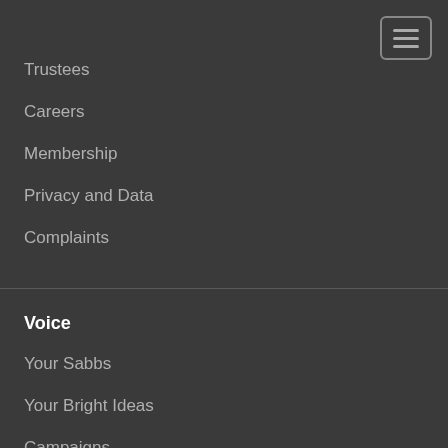[Figure (other): Hamburger menu button icon with three horizontal lines, positioned top right]
Trustees
Careers
Membership
Privacy and Data
Complaints
Voice
Your Sabbs
Your Bright Ideas
Campaigns
Academic Reps
You're Valued Awards
Governance